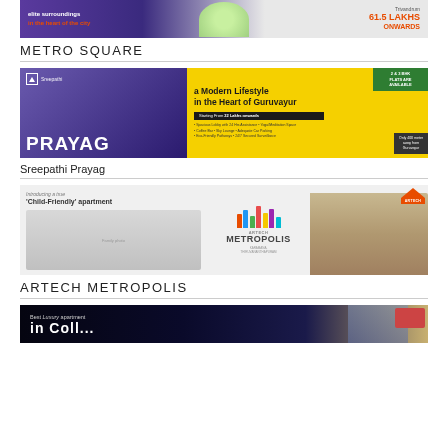[Figure (photo): Top partial advertisement banner for Metro Square showing text 'elite surroundings in the heart of the city' and '61.5 LAKHS ONWARDS' in orange]
METRO SQUARE
[Figure (photo): Advertisement banner for Sreepathi Prayag showing 'a Modern Lifestyle in the Heart of Guruvayur', starting from 22 Lakhs onwards, 2 & 3 BHK flats available, Only 400 meter away]
Sreepathi Prayag
[Figure (photo): Advertisement banner for Artech Metropolis showing 'Child-Friendly apartment', family photo, Artech Metropolis logo with colorful bars, and building render]
ARTECH METROPOLIS
[Figure (photo): Partial advertisement banner at bottom showing 'Best Luxury apartment' text on dark background]